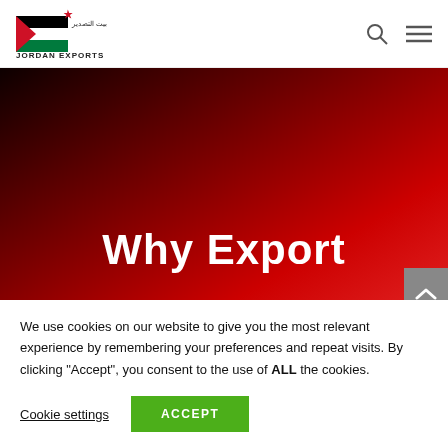[Figure (logo): Jordan Exports logo with Arabic text, Jordanian flag motif, and red star]
[Figure (illustration): Navigation icons: search (magnifying glass) and hamburger menu]
Why Export
We use cookies on our website to give you the most relevant experience by remembering your preferences and repeat visits. By clicking “Accept”, you consent to the use of ALL the cookies.
Cookie settings
ACCEPT